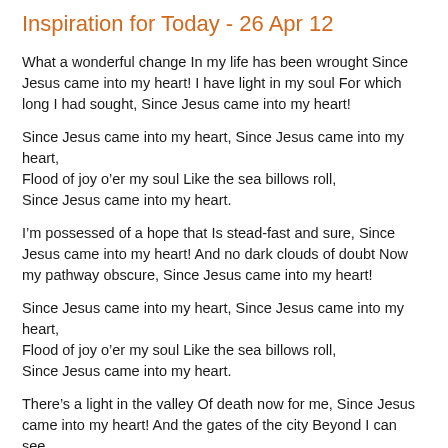Inspiration for Today - 26 Apr 12
What a wonderful change In my life has been wrought Since Jesus came into my heart! I have light in my soul For which long I had sought, Since Jesus came into my heart!
Since Jesus came into my heart, Since Jesus came into my heart,
Flood of joy o’er my soul Like the sea billows roll,
Since Jesus came into my heart.
I’m possessed of a hope that Is stead-fast and sure, Since Jesus came into my heart! And no dark clouds of doubt Now my pathway obscure, Since Jesus came into my heart!
Since Jesus came into my heart, Since Jesus came into my heart,
Flood of joy o’er my soul Like the sea billows roll,
Since Jesus came into my heart.
There’s a light in the valley Of death now for me, Since Jesus came into my heart! And the gates of the city Beyond I can see,